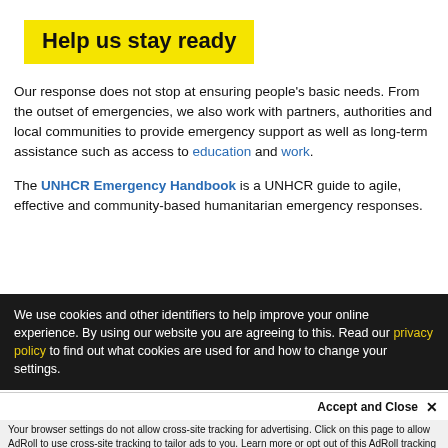Help us stay ready
Our response does not stop at ensuring people's basic needs. From the outset of emergencies, we also work with partners, authorities and local communities to provide emergency support as well as long-term assistance such as access to education and work.
The UNHCR Emergency Handbook is a UNHCR guide to agile, effective and community-based humanitarian emergency responses.
We use cookies and other identifiers to help improve your online experience. By using our website you are agreeing to this. Read our privacy policy to find out what cookies are used for and how to change your settings.
Accept and Close ✕
Your browser settings do not allow cross-site tracking for advertising. Click on this page to allow AdRoll to use cross-site tracking to tailor ads to you. Learn more or opt out of this AdRoll tracking by clicking here. This message only appears once.